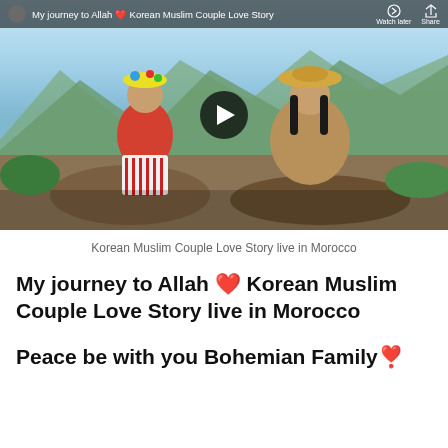[Figure (screenshot): YouTube video thumbnail showing a Korean couple sitting outdoors with mountains in the background. The man wears a straw hat and the woman wears a colorful pom-pom hat and red sweater. A play button is visible in the center. The top bar shows the video title 'My journey to Allah ❤️ Korean Muslim Couple Love Story'.]
Korean Muslim Couple Love Story live in Morocco
My journey to Allah ❤️ Korean Muslim Couple Love Story live in Morocco
Peace be with you Bohemian Family❣️